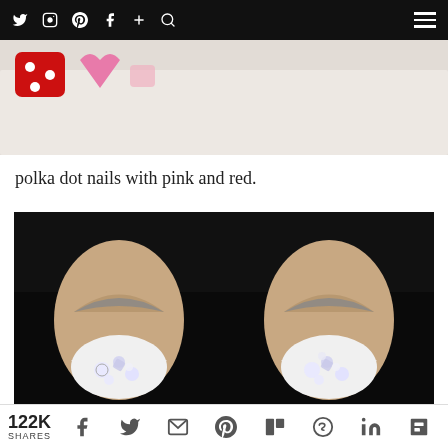Navigation bar with social media icons: Twitter, Instagram, Pinterest, Facebook, Plus, Search, and hamburger menu
[Figure (photo): Top portion of a nail art photo showing red dice and pink heart accessories on a fluffy white background — partial crop]
polka dot nails with pink and red.
[Figure (photo): Close-up photo of two white stiletto nails decorated with rhinestones and crystal gems, held up against a dark background]
122K SHARES — social share buttons: Facebook, Twitter, Email, Pinterest, Mix, WhatsApp, LinkedIn, Flipboard